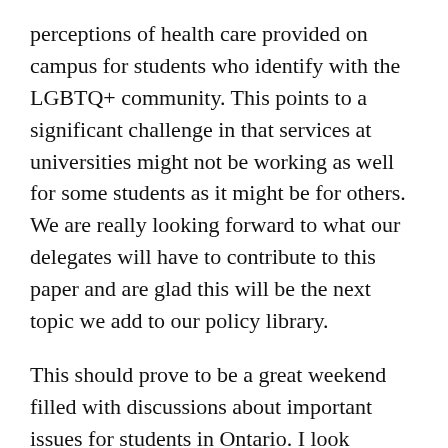perceptions of health care provided on campus for students who identify with the LGBTQ+ community. This points to a significant challenge in that services at universities might not be working as well for some students as it might be for others. We are really looking forward to what our delegates will have to contribute to this paper and are glad this will be the next topic we add to our policy library.
This should prove to be a great weekend filled with discussions about important issues for students in Ontario. I look forward to sending everyone an update after General Assembly!